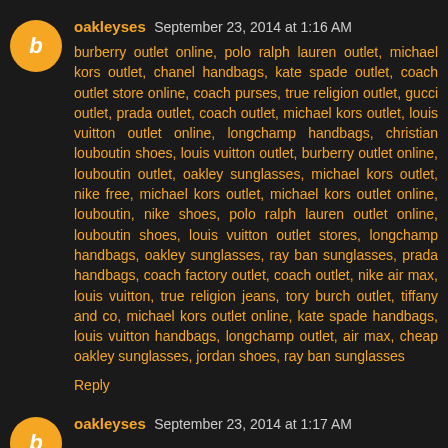oakleyses September 23, 2014 at 1:16 AM
burberry outlet online, polo ralph lauren outlet, michael kors outlet, chanel handbags, kate spade outlet, coach outlet store online, coach purses, true religion outlet, gucci outlet, prada outlet, coach outlet, michael kors outlet, louis vuitton outlet online, longchamp handbags, christian louboutin shoes, louis vuitton outlet, burberry outlet online, louboutin outlet, oakley sunglasses, michael kors outlet, nike free, michael kors outlet, michael kors outlet online, louboutin, nike shoes, polo ralph lauren outlet online, louboutin shoes, louis vuitton outlet stores, longchamp handbags, oakley sunglasses, ray ban sunglasses, prada handbags, coach factory outlet, coach outlet, nike air max, louis vuitton, true religion jeans, tory burch outlet, tiffany and co, michael kors outlet online, kate spade handbags, louis vuitton handbags, longchamp outlet, air max, cheap oakley sunglasses, jordan shoes, ray ban sunglasses
Reply
oakleyses September 23, 2014 at 1:17 AM